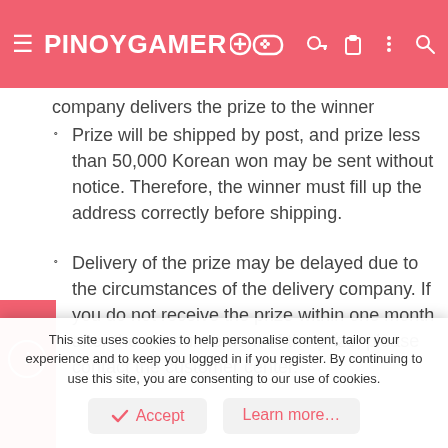PINOYGAMER (logo with gaming icons)
company delivers the prize to the winner
Prize will be shipped by post, and prize less than 50,000 Korean won may be sent without notice. Therefore, the winner must fill up the address correctly before shipping.
Delivery of the prize may be delayed due to the circumstances of the delivery company. If you do not receive the prize within one month after the announcement of the prize, please contact the customer center.
3. If the prize is returned or lost due to incorrect address or contact information, it will not be
This site uses cookies to help personalise content, tailor your experience and to keep you logged in if you register. By continuing to use this site, you are consenting to our use of cookies.